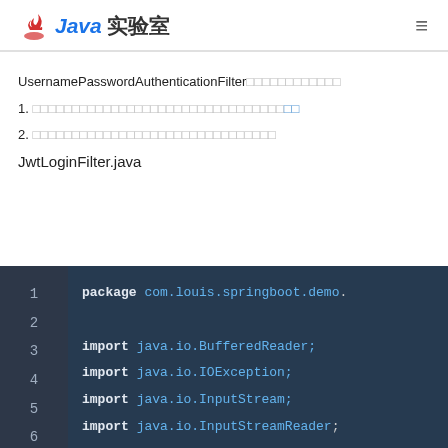Java实验室
UsernamePasswordAuthenticationFilter的实现方式（继承过滤器）
1. 自定义过滤器类继承UsernamePasswordAuthenticationFilter过滤器 [链接]
2. 继承以后我们需要重写attemptAuthentication等几个方法
JwtLoginFilter.java
[Figure (screenshot): Java code editor showing JwtLoginFilter.java with line numbers 1-6. Line 1: package com.louis.springboot.demo... Line 3: import java.io.BufferedReader; Line 4: import java.io.IOException; Line 5: import java.io.InputStream; Line 6: import java.io.InputStreamReader;]